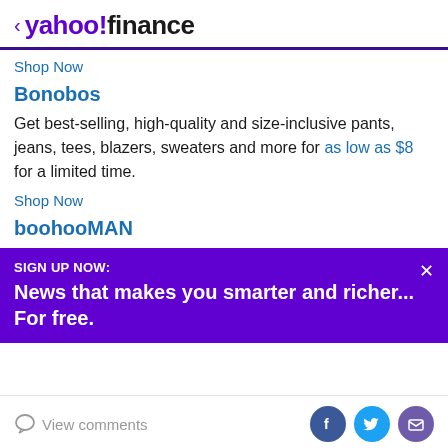< yahoo!finance
Shop Now
Bonobos
Get best-selling, high-quality and size-inclusive pants, jeans, tees, blazers, sweaters and more for as low as $8 for a limited time.
Shop Now
boohooMAN
SIGN UP NOW: News that makes you smarter and richer... For free.
View comments